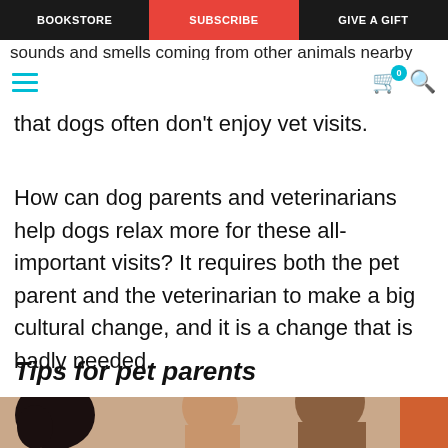BOOKSTORE | SUBSCRIBE | GIVE A GIFT
sounds and smells coming from other animals nearby
that dogs often don't enjoy vet visits.
How can dog parents and veterinarians help dogs relax more for these all-important visits? It requires both the pet parent and the veterinarian to make a big cultural change, and it is a change that is badly needed.
Tips for pet parents
[Figure (photo): Photo of a dog and two people (likely in a veterinary setting)]